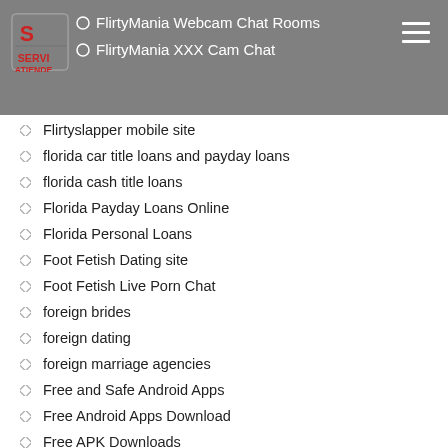FlirtyMania Webcam Chat Rooms | FlirtyMania XXX Cam Chat
Flirtyslapper mobile site
florida car title loans and payday loans
florida cash title loans
Florida Payday Loans Online
Florida Personal Loans
Foot Fetish Dating site
Foot Fetish Live Porn Chat
foreign brides
foreign dating
foreign marriage agencies
Free and Safe Android Apps
Free Android Apps Download
Free APK Downloads
Free APK Mods
Free Applications Download